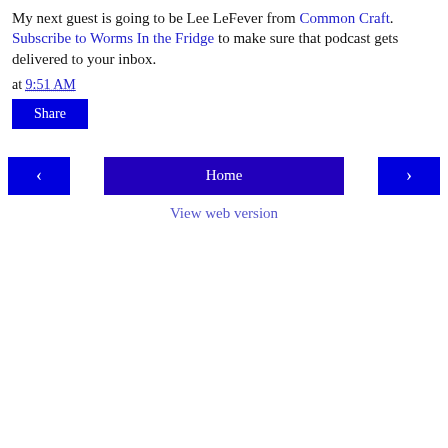My next guest is going to be Lee LeFever from Common Craft. Subscribe to Worms In the Fridge to make sure that podcast gets delivered to your inbox.
at 9:51 AM
Share
< Home >
View web version